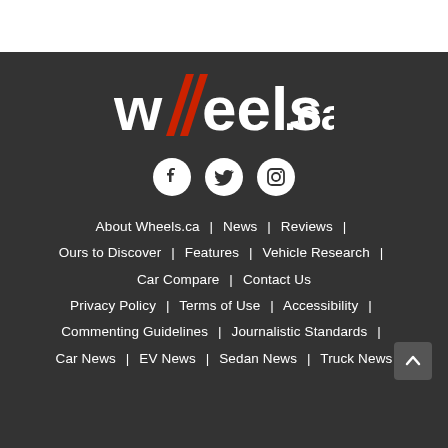[Figure (logo): wheels.ca logo with red double slash marks between the two w letters, white text on dark background]
[Figure (infographic): Three social media icon circles: Facebook, Twitter, Instagram]
About Wheels.ca | News | Reviews | Ours to Discover | Features | Vehicle Research | Car Compare | Contact Us | Privacy Policy | Terms of Use | Accessibility | Commenting Guidelines | Journalistic Standards | Car News | EV News | Sedan News | Truck News